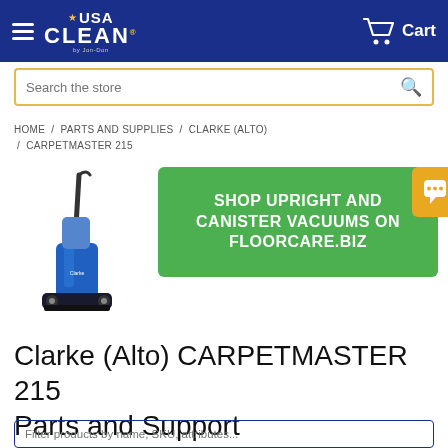USA CLEAN by Jon-Don — Cart
Search the store
HOME / PARTS AND SUPPLIES / CLARKE (ALTO) / CARPETMASTER 215
[Figure (photo): Blue Clarke (Alto) CARPETMASTER 215 upright vacuum cleaner]
[Figure (infographic): Green banner: SHOP UPRIGHT AND CANISTER VACUUMS ON FLOORCARE.BIZ, with gold chat bubble icon]
Clarke (Alto) CARPETMASTER 215 Parts and Support
Filter products by name, SKU, attributes...